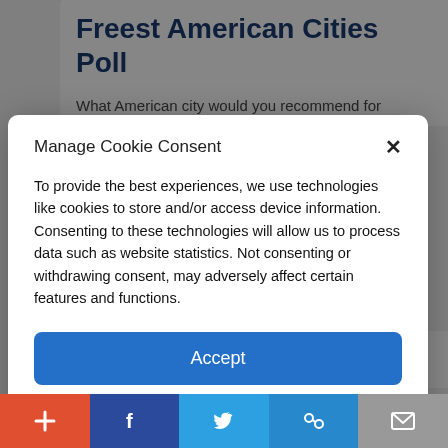Freest American Cities Poll
What American city would you recommend for
Manage Cookie Consent
To provide the best experiences, we use technologies like cookies to store and/or access device information. Consenting to these technologies will allow us to process data such as website statistics. Not consenting or withdrawing consent, may adversely affect certain features and functions.
Accept
Cookie Policy   Privacy Policy